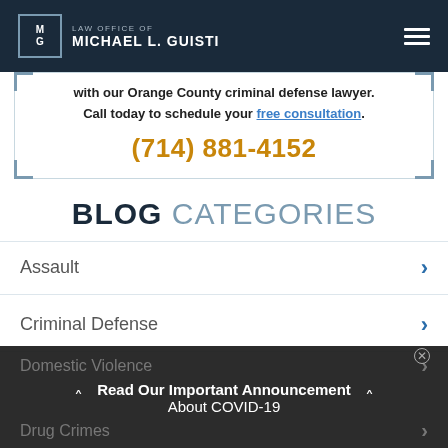Law Office of Michael L. Guisti
with our Orange County criminal defense lawyer. Call today to schedule your free consultation.
(714) 881-4152
BLOG CATEGORIES
Assault
Criminal Defense
Domestic Violence
Drug Crimes
Read Our Important Announcement About COVID-19